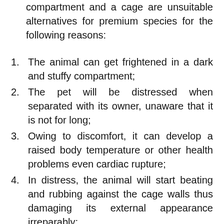compartment and a cage are unsuitable alternatives for premium species for the following reasons:
The animal can get frightened in a dark and stuffy compartment;
The pet will be distressed when separated with its owner, unaware that it is not for long;
Owing to discomfort, it can develop a raised body temperature or other health problems even cardiac rupture;
In distress, the animal will start beating and rubbing against the cage walls thus damaging its external appearance irreparably;
After prolonged stress, the pet will forge commands or will obey slowly and